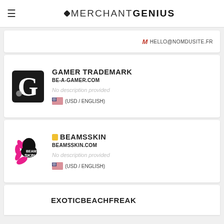MERCHANT GENIUS
HELLO@NOMDUSITE.FR
GAMER TRADEMARK
BE-A-GAMER.COM
No description provided
(USD / ENGLISH)
BEAMSSKIN
BEAMSSKIN.COM
No description provided
(USD / ENGLISH)
EXOTICBEACHFREAK